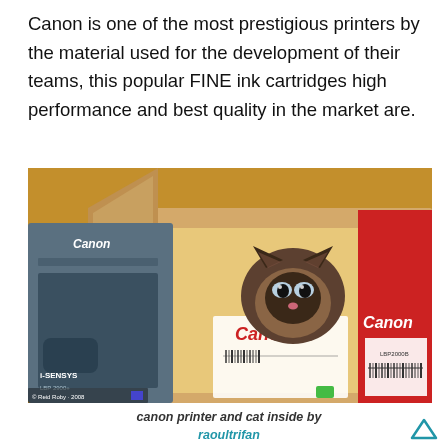Canon is one of the most prestigious printers by the material used for the development of their teams, this popular FINE ink cartridges high performance and best quality in the market are.
[Figure (photo): A small kitten peeking out from inside a Canon printer box (LBP2000B), surrounded by cardboard boxes and packaging. A Canon i-SENSYS printer is visible on the left side of the box.]
canon printer and cat inside by
raoultrifan